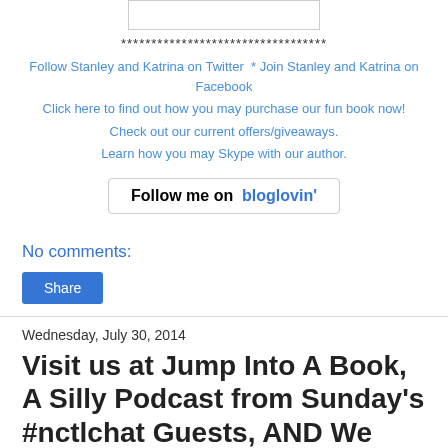[Figure (other): Small rectangular image placeholder box]
**********************************
Follow Stanley and Katrina on Twitter  * Join Stanley and Katrina on Facebook
Click here to find out how you may purchase our fun book now!
Check out our current offers/giveaways.
Learn how you may Skype with our author.
[Figure (other): Follow me on bloglovin' button]
No comments:
Share
Wednesday, July 30, 2014
Visit us at Jump Into A Book, A Silly Podcast from Sunday's #nctlchat Guests, AND We Have Winners!
Hello!